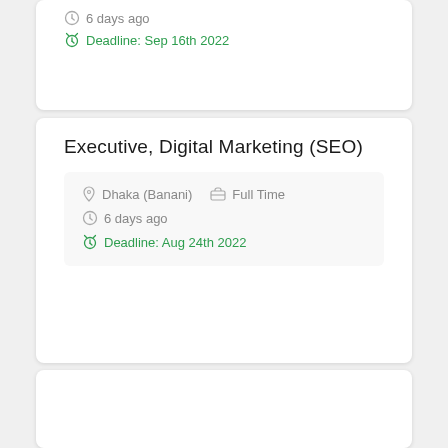6 days ago
Deadline: Sep 16th 2022
Executive, Digital Marketing (SEO)
Dhaka (Banani)   Full Time
6 days ago
Deadline: Aug 24th 2022